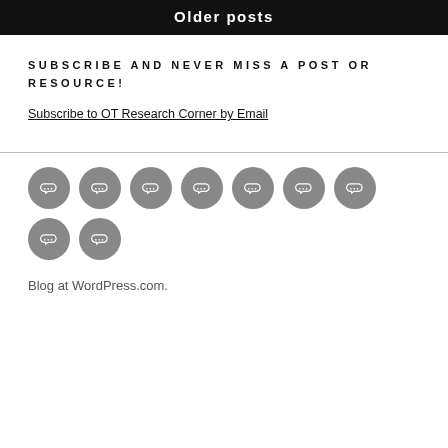Older posts
SUBSCRIBE AND NEVER MISS A POST OR RESOURCE!
Subscribe to OT Research Corner by Email
[Figure (infographic): Nine gray circular social media link icons arranged in two rows]
Blog at WordPress.com.